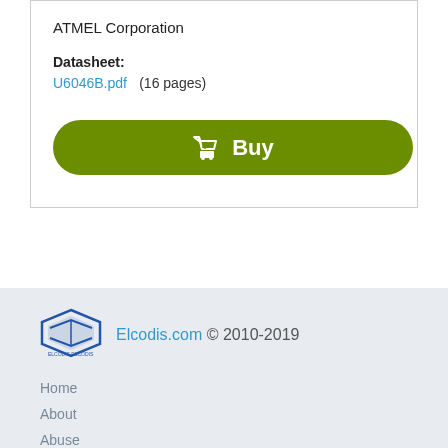ATMEL Corporation
Datasheet:
U6046B.pdf  (16 pages)
[Figure (other): Green pill-shaped Buy button with shopping cart icon]
[Figure (logo): Elcodis diamond-shaped logo in blue]
Elcodis.com © 2010-2019
Home
About
Abuse